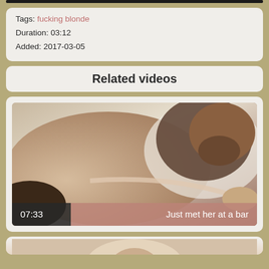Tags: fucking blonde
Duration: 03:12
Added: 2017-03-05
Related videos
[Figure (photo): Video thumbnail showing two people in an intimate scene. Duration overlay shows 07:33 and title bar reads 'Just met her at a bar']
[Figure (photo): Partial video thumbnail at bottom of page, partially cropped]